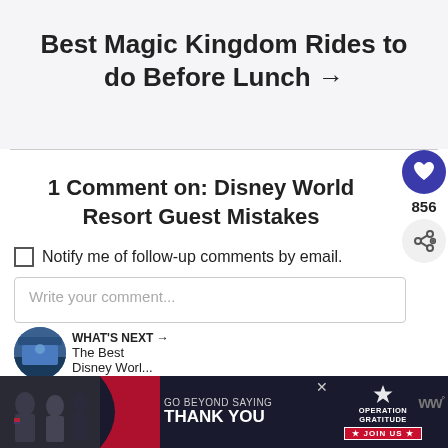Best Magic Kingdom Rides to do Before Lunch →
1 Comment on: Disney World Resort Guest Mistakes
Notify me of follow-up comments by email.
Write your comment...
856
WHAT'S NEXT → The Best Disney Worl...
[Figure (screenshot): GO BEYOND SAYING THANK YOU — Operation Gratitude advertisement with people in uniforms and JOIN US button]